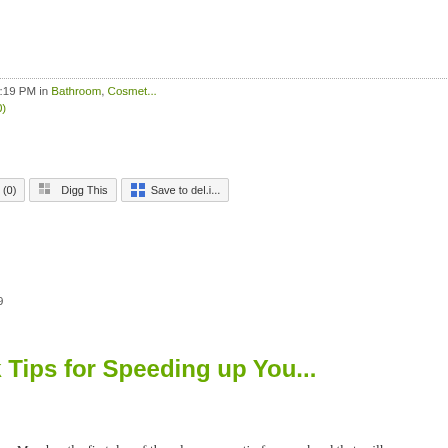Posted at 10:19 PM in Bathroom, Cosmet... TrackBack (0)
[Figure (screenshot): Social sharing buttons: Reblog (0), Digg This, Save to del.i...]
July 19, 2009
Quick Tips for Speeding up You...
Tuesday is my Monday, the first day of the... lazy, cosmetic-free weekend that spills ove... tempted to throw caution to the wind and s... can't spare the 30 seconds it takes to line ... whenever I go into the office bare-faced, th... often--if I'm sick.
I came across "50 Ways to Speed up Your... Because saving time and streamlining rou... would make a good post for the Quest. I'v... quarter of the hair and general grooming ti... pleased with the tips I've tried. I may not s... light dusting of blush in place of eyeshado... techniques seem to work well enough and...